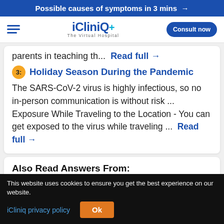Possible causes of symptoms in 3 mins →
[Figure (logo): iCliniq+ The Virtual Hospital logo with hamburger menu and Consult now button]
parents in teaching th...  Read full →
3: Holiday Season During the Pandemic — The SARS-CoV-2 virus is highly infectious, so no in-person communication is without risk ... Exposure While Traveling to the Location - You can get exposed to the virus while traveling ...  Read full →
Also Read Answers From:
This website uses cookies to ensure you get the best experience on our website.
iCliniq privacy policy  Ok